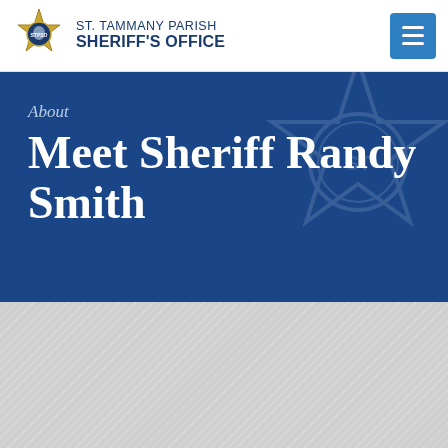ST. TAMMANY PARISH SHERIFF'S OFFICE
[Figure (logo): St. Tammany Parish Sheriff's Office star badge logo in gold and blue]
About
Meet Sheriff Randy Smith
[Figure (illustration): Light gray diagonal-striped content area below hero banner]